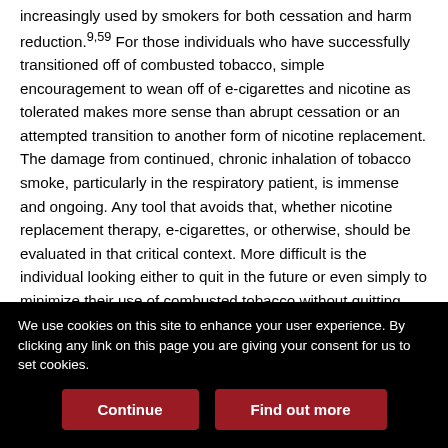increasingly used by smokers for both cessation and harm reduction.9,59 For those individuals who have successfully transitioned off of combusted tobacco, simple encouragement to wean off of e-cigarettes and nicotine as tolerated makes more sense than abrupt cessation or an attempted transition to another form of nicotine replacement. The damage from continued, chronic inhalation of tobacco smoke, particularly in the respiratory patient, is immense and ongoing. Any tool that avoids that, whether nicotine replacement therapy, e-cigarettes, or otherwise, should be evaluated in that critical context. More difficult is the individual looking either to quit in the future or even simply to minimize their use of combusted tobacco without quitting. For these individuals, it is perhaps most useful to think of e-cigarettes as members of the nicotine replacement landscape, with the not-known-which-better...
We use cookies on this site to enhance your user experience. By clicking any link on this page you are giving your consent for us to set cookies.